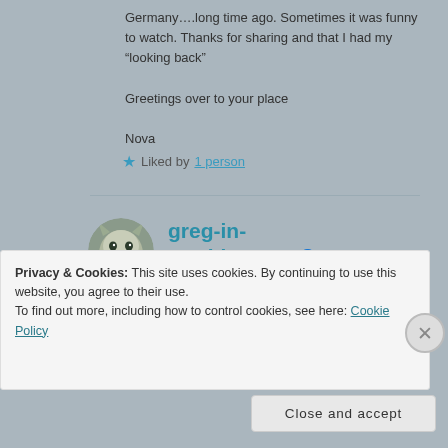Germany….long time ago. Sometimes it was funny to watch. Thanks for sharing and that I had my “looking back”

Greetings over to your place

Nova
★ Liked by 1 person
greg-in-washington
SEPTEMBER 3, 2018 AT 19:45
Privacy & Cookies: This site uses cookies. By continuing to use this website, you agree to their use.
To find out more, including how to control cookies, see here: Cookie Policy
Close and accept